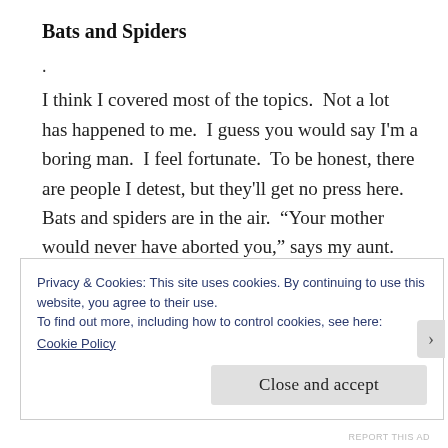Bats and Spiders
.
I think I covered most of the topics.  Not a lot has happened to me.  I guess you would say I'm a boring man.  I feel fortunate.  To be honest, there are people I detest, but they'll get no press here.  Bats and spiders are in the air.  “Your mother would never have aborted you,” says my aunt.
Privacy & Cookies: This site uses cookies. By continuing to use this website, you agree to their use.
To find out more, including how to control cookies, see here:
Cookie Policy
Close and accept